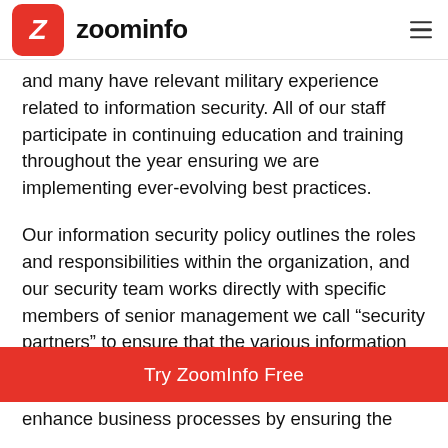ZoomInfo
and many have relevant military experience related to information security. All of our staff participate in continuing education and training throughout the year ensuring we are implementing ever-evolving best practices.
Our information security policy outlines the roles and responsibilities within the organization, and our security team works directly with specific members of senior management we call “security partners” to ensure that the various information security directives are executed as required in their
Try ZoomInfo Free
enhance business processes by ensuring the